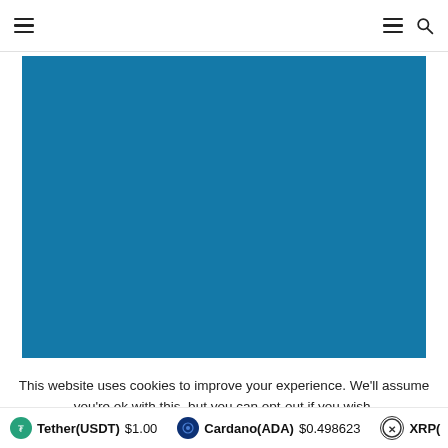Navigation header with hamburger menu icons and search icon
[Figure (other): Large blue rectangular image placeholder area]
This website uses cookies to improve your experience. We'll assume you're ok with this, but you can opt-out if you wish.
Tether(USDT) $1.00  Cardano(ADA) $0.498623  XRP(